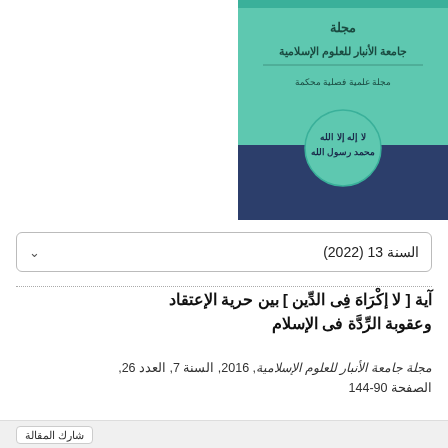[Figure (illustration): Cover of Anbar University Journal of Islamic Sciences — teal and dark navy blue cover with Arabic calligraphy and ornamental design showing the journal name and subtitle]
السنة 13 (2022) ∨
آية [ لا إكْرَاهَ فِى الدِّين ] بين حرية الإعتقاد وعقوبة الرِّدَّة فى الإسلام
مجلة جامعة الأنبار للعلوم الإسلامية, 2016, السنة 7, العدد 26, الصفحة 90-144